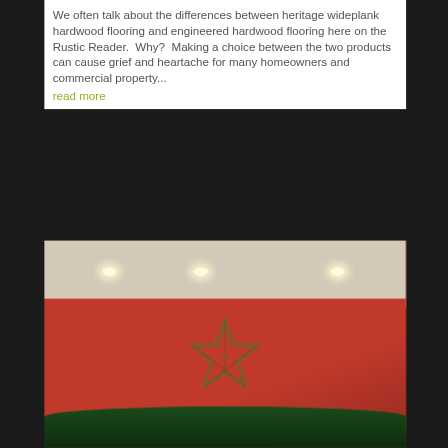We often talk about the differences between heritage wideplank hardwood flooring and engineered hardwood flooring here on the Rustic Reader.  Why?  Making a choice between the two products can cause grief and heartache for many homeowners and commercial property...  read more
[Figure (photo): Interior photo showing a red accent wall with recessed ceiling lights and a rustic star decoration on the wall, with Christmas greenery/tree visible at the bottom.]